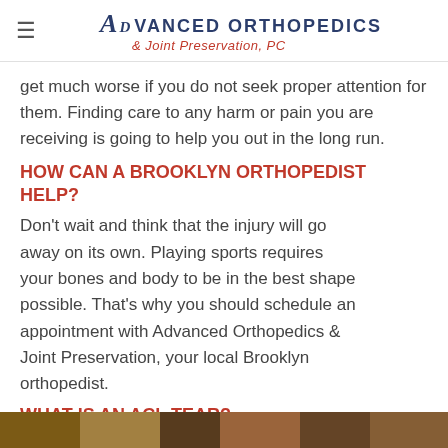Advanced Orthopedics & Joint Preservation, PC
get much worse if you do not seek proper attention for them. Finding care to any harm or pain you are receiving is going to help you out in the long run.
HOW CAN A BROOKLYN ORTHOPEDIST HELP?
Don't wait and think that the injury will go away on its own. Playing sports requires your bones and body to be in the best shape possible. That's why you should schedule an appointment with Advanced Orthopedics & Joint Preservation, your local Brooklyn orthopedist.
WHAT IS AN ACL TEAR?
[Figure (photo): Group photo at the bottom of the page]